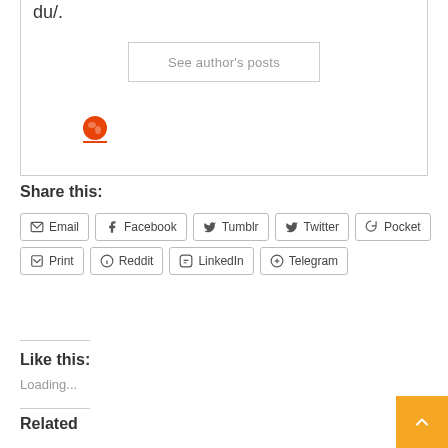du/.
See author's posts
[Figure (illustration): Globe/world icon in orange-red color]
Share this:
Email
Facebook
Tumblr
Twitter
Pocket
Print
Reddit
LinkedIn
Telegram
Like this:
Loading...
Related